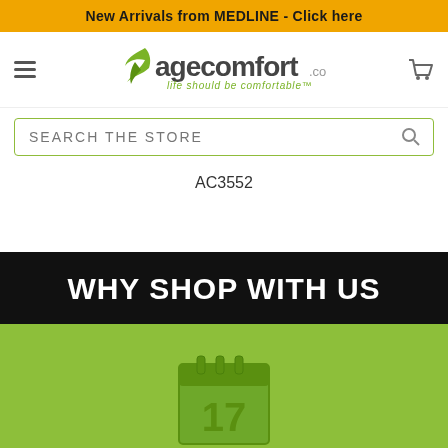New Arrivals from MEDLINE - Click here
[Figure (logo): AgeComfort.com logo with green leaf icon and tagline 'life should be comfortable']
SEARCH THE STORE
AC3552
WHY SHOP WITH US
[Figure (illustration): Calendar icon showing the number 17 in green tones]
AUTO ORDER